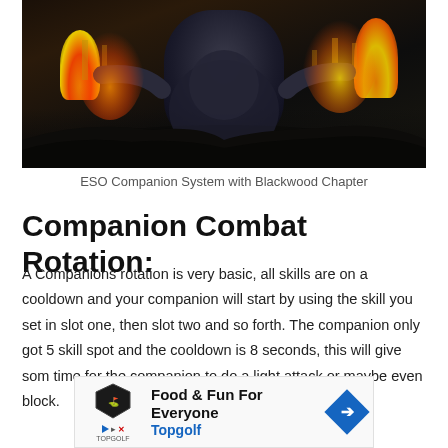[Figure (photo): Dark fantasy artwork showing a large creature or entity with arms outstretched, bonfires on either side, with gold-armored figures in the background]
ESO Companion System with Blackwood Chapter
Companion Combat Rotation:
A Companions rotation is very basic, all skills are on a cooldown and your companion will start by using the skill you set in slot one, then slot two and so forth. The companion only got 5 skill spot and the cooldown is 8 seconds, this will give som time for the companion to do a light attack or maybe even block.
[Figure (other): Advertisement banner: Food & Fun For Everyone - Topgolf]